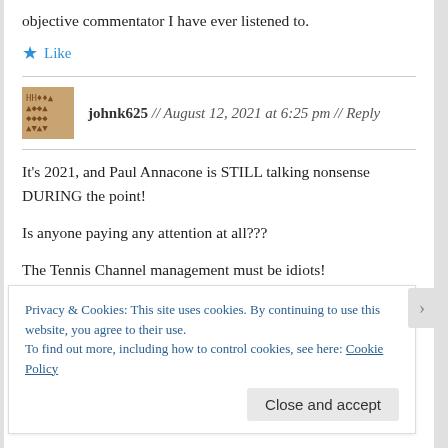objective commentator I have ever listened to.
Like
johnk625 // August 12, 2021 at 6:25 pm // Reply
It’s 2021, and Paul Annacone is STILL talking nonsense DURING the point!
Is anyone paying any attention at all???
The Tennis Channel management must be idiots!
Privacy & Cookies: This site uses cookies. By continuing to use this website, you agree to their use.
To find out more, including how to control cookies, see here: Cookie Policy
Close and accept